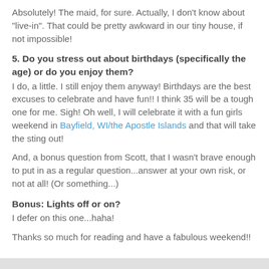Absolutely! The maid, for sure. Actually, I don't know about "live-in". That could be pretty awkward in our tiny house, if not impossible!
5. Do you stress out about birthdays (specifically the age) or do you enjoy them?
I do, a little. I still enjoy them anyway! Birthdays are the best excuses to celebrate and have fun!! I think 35 will be a tough one for me. Sigh! Oh well, I will celebrate it with a fun girls weekend in Bayfield, WI/the Apostle Islands and that will take the sting out!
And, a bonus question from Scott, that I wasn't brave enough to put in as a regular question...answer at your own risk, or not at all! (Or something...)
Bonus: Lights off or on?
I defer on this one...haha!
Thanks so much for reading and have a fabulous weekend!!